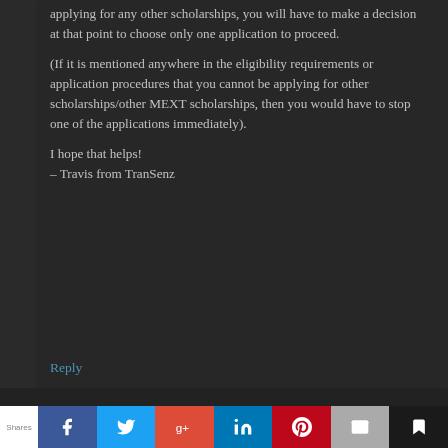applying for any other scholarships, you will have to make a decision at that point to choose only one application to proceed.
(If it is mentioned anywhere in the eligibility requirements or application procedures that you cannot be applying for other scholarships/other MEXT scholarships, then you would have to stop one of the applications immediately).
I hope that helps!
– Travis from TranSenz
Reply
Shares